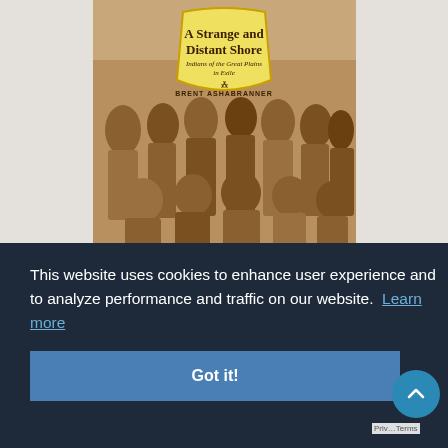[Figure (illustration): Book cover of 'A Strange and Distant Shore: Indians of the Great Plains in Exile' by Brent Ashabranner. Features a sepia-toned historical photograph of a group of Native Americans, with a yellow shield-shaped badge in the upper center containing the title and author name.]
This website uses cookies to enhance user experience and to analyze performance and traffic on our website. Learn more
Got it!
Privacy Terms
+ BOOKSHELF